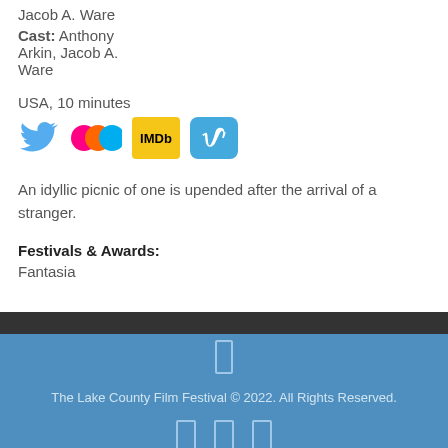Jacob A. Ware
Cast: Anthony Arkin, Jacob A. Ware
USA, 10 minutes
[Figure (logo): Social media icons: Twitter, Flickr, IMDb, Vimeo]
An idyllic picnic of one is upended after the arrival of a stranger.
Festivals & Awards:
Fantasia
The Lake County Film Festival © 2022. All Rights Reserved.